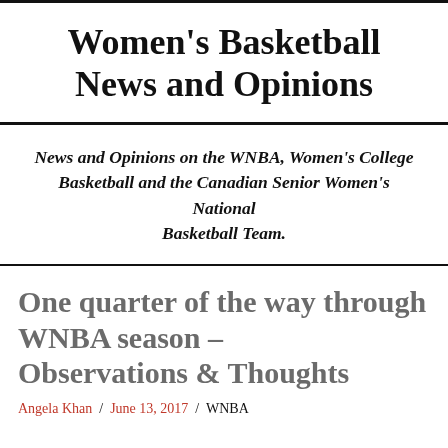Women's Basketball News and Opinions
News and Opinions on the WNBA, Women's College Basketball and the Canadian Senior Women's National Basketball Team.
One quarter of the way through WNBA season – Observations & Thoughts
Angela Khan / June 13, 2017 / WNBA